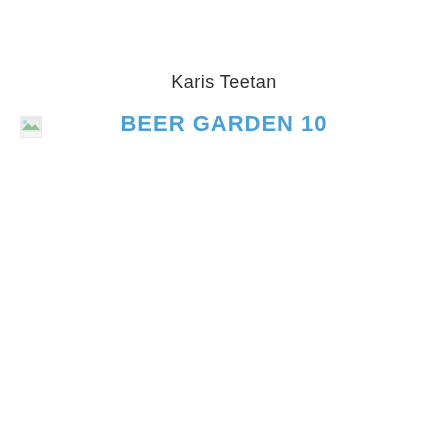Karis Teetan
BEER GARDEN 10
[Figure (illustration): Small broken/placeholder image icon in the upper left area]